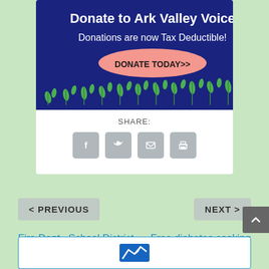[Figure (illustration): Ark Valley Voice donation banner with dark blue background, green leaf decorations, bold white text 'Donate to Ark Valley Voice', subtitle 'Donations are now Tax Deductible!', and a pink oval button reading 'DONATE TODAY>>']
SHARE:
[Figure (infographic): Four social sharing icon buttons: Facebook (f), Twitter (bird), Email (envelope), Print (printer) — each in a rounded gray square]
< PREVIOUS
NEXT >
Fire Dept., School District lead off Salida work session
Free diabetes cooking class to be offered
[Figure (logo): Ark Valley Voice logo — partial view of blue mountain/wave logo at bottom of page]